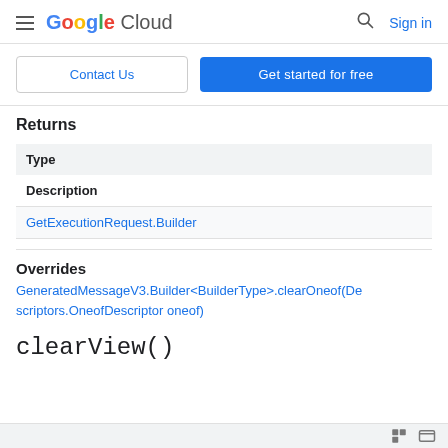Google Cloud  Sign in
Contact Us | Get started for free
Returns
| Type |
| --- |
| Description |
| GetExecutionRequest.Builder |
Overrides
GeneratedMessageV3.Builder<BuilderType>.clearOneof(Descriptors.OneofDescriptor oneof)
clearView()